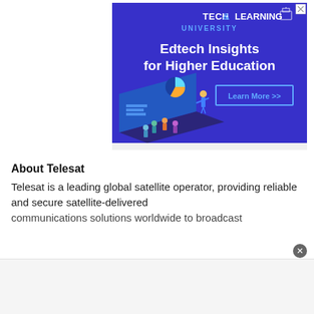[Figure (illustration): Tech & Learning University advertisement banner with dark blue/purple background. Shows the Tech & Learning University logo at top, headline 'Edtech Insights for Higher Education' in white bold text, a 'Learn More >>' button with blue border, and an isometric illustration of a laptop with people using educational technology.]
About Telesat
Telesat is a leading global satellite operator, providing reliable and secure satellite-delivered communications solutions worldwide to broadcast